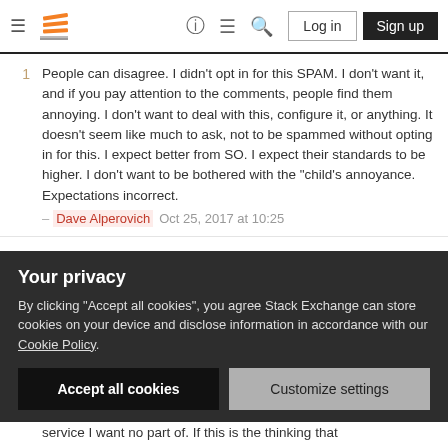Stack Overflow navigation bar with hamburger menu, logo, help, chat, search, Log in, Sign up buttons
People can disagree. I didn't opt in for this SPAM. I don't want it, and if you pay attention to the comments, people find them annoying. I don't want to deal with this, configure it, or anything. It doesn't seem like much to ask, not to be spammed without opting in for this. I expect better from SO. I expect their standards to be higher. I don't want to be bothered with the "child's annoyance. Expectations incorrect. – Dave Alperovich Oct 25, 2017 at 10:25
As much as you consider those mails "spam", they're not. They're part of a product you registered for. A part you can chose to disable. That said, you're constantly...
Your privacy
By clicking "Accept all cookies", you agree Stack Exchange can store cookies on your device and disclose information in accordance with our Cookie Policy.
[Accept all cookies] [Customize settings]
service I want no part of. If this is the thinking that